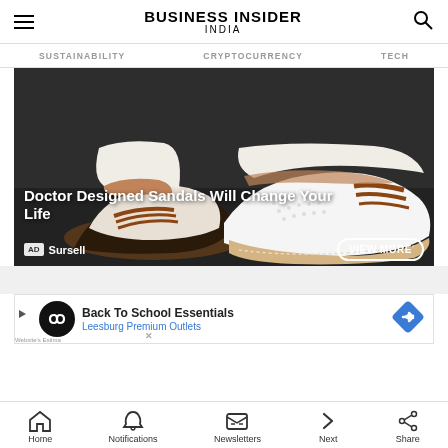BUSINESS INSIDER INDIA
SUSTAINABILITY   CRYPTOCURRENCY   TECH
[Figure (photo): Close-up of feet wearing white perforated slip-on sandals with brown stripes on a dark asphalt surface. Advertisement for Sursell sandals with text 'Doctor Designed Sandals Will Change Your Life' and a 'VIEW MORE' button.]
[Figure (screenshot): Advertisement banner: Back To School Essentials, Leesburg Premium Outlets, with logo and blue diamond icon.]
Home   Notifications   Newsletters   Next   Share